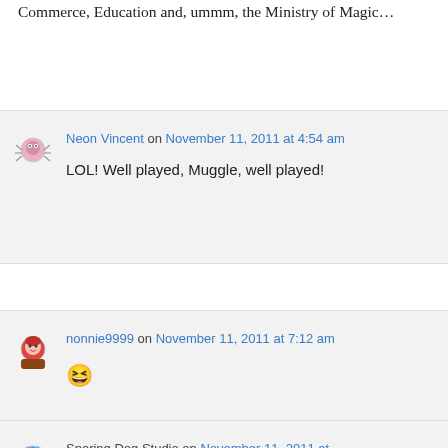Commerce, Education and, ummm, the Ministry of Magic…
Neon Vincent on November 11, 2011 at 4:54 am
LOL! Well played, Muggle, well played!
nonnie9999 on November 11, 2011 at 7:12 am
😆
Snoring Dog Studio on November 11, 2011 at